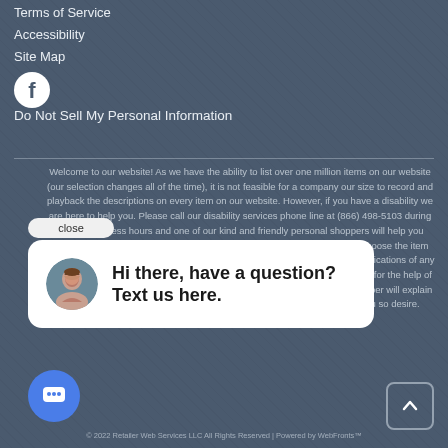Terms of Service
Accessibility
Site Map
[Figure (logo): Facebook logo icon (white circle with f)]
Do Not Sell My Personal Information
Welcome to our website! As we have the ability to list over one million items on our website (our selection changes all of the time), it is not feasible for a company our size to record and playback the descriptions on every item on our website. However, if you have a disability we are here to help you. Please call our disability services phone line at (866) 498-5103 during regular business hours and one of our kind and friendly personal shoppers will help you navigate through our website, help conduct advanced searches, help you choose the item you are looking for with the specifications you are seeking, read you the specifications of any item and consult with you about the products themselves. There is no charge for the help of this personal shopper for anyone with a disability. Finally, your personal shopper will explain our Privacy Policy and Terms of Service, and help you place an order if you so desire.
[Figure (screenshot): Chat popup with avatar photo of a woman and text: Hi there, have a question? Text us here.]
© 2022 Retailer Web Services LLC All Rights Reserved | Powered by WebFronts™